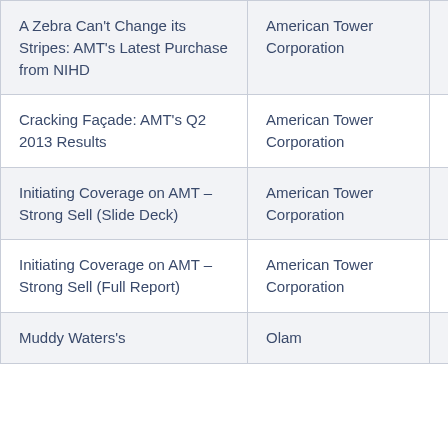| A Zebra Can't Change its Stripes: AMT's Latest Purchase from NIHD | American Tower Corporation | 2013-08-11 |
| Cracking Façade: AMT's Q2 2013 Results | American Tower Corporation | 2013-08-01 |
| Initiating Coverage on AMT – Strong Sell (Slide Deck) | American Tower Corporation | 2013-07-17 |
| Initiating Coverage on AMT – Strong Sell (Full Report) | American Tower Corporation | 2013-07-17 |
| Muddy Waters's | Olam | 2013- |